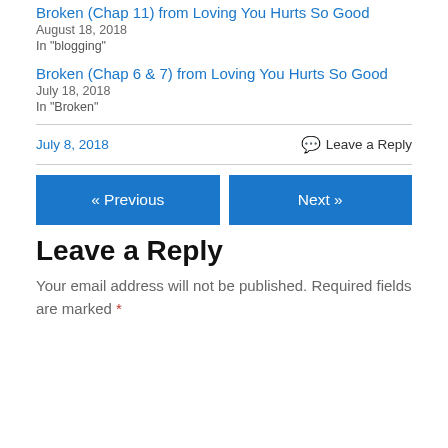Broken (Chap 11) from Loving You Hurts So Good
August 18, 2018
In "blogging"
Broken (Chap 6 & 7) from Loving You Hurts So Good
July 18, 2018
In "Broken"
July 8, 2018
Leave a Reply
« Previous
Next »
Leave a Reply
Your email address will not be published. Required fields are marked *